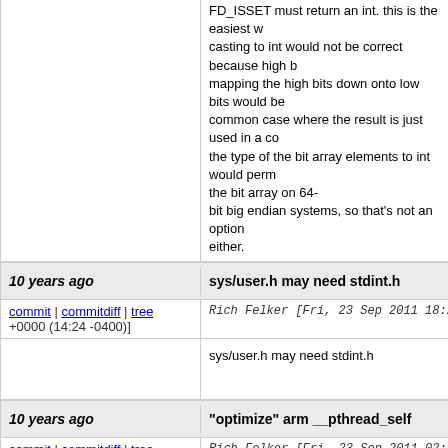FD_ISSET must return an int. this is the easiest w casting to int would not be correct because high b mapping the high bits down onto low bits would be common case where the result is just used in a co the type of the bit array elements to int would perm the bit array on 64- bit big endian systems, so that's not an option either.
10 years ago | sys/user.h may need stdint.h
commit | commitdiff | tree Rich Felker [Fri, 23 Sep 2011 18:24:57 +0000 (14:24 -0400)]
sys/user.h may need stdint.h
10 years ago | "optimize" arm __pthread_self
commit | commitdiff | tree Rich Felker [Fri, 23 Sep 2011 02:56:06 +0000 (22:56 -0400)]
"optimize" arm __pthread_self

actually this is just to avoid gcc being stupid and r the function version, even when the size cost is es whether it's inlined or not.